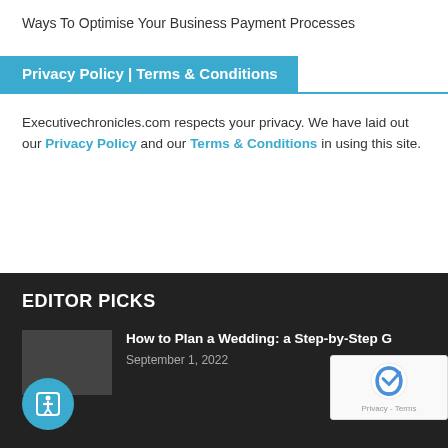Ways To Optimise Your Business Payment Processes
Privacy Policy | Terms & Conditions
Executivechronicles.com respects your privacy. We have laid out our Privacy Policy and our Terms & Conditions in using this site.
EDITOR PICKS
How to Plan a Wedding: a Step-by-Step G
September 1, 2022